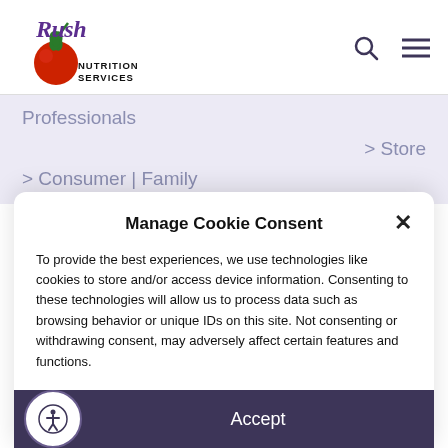[Figure (logo): Rush Nutrition Services logo with stylized script text and tomato illustration]
Professionals
> Store
> Consumer | Family
Manage Cookie Consent
To provide the best experiences, we use technologies like cookies to store and/or access device information. Consenting to these technologies will allow us to process data such as browsing behavior or unique IDs on this site. Not consenting or withdrawing consent, may adversely affect certain features and functions.
Accept